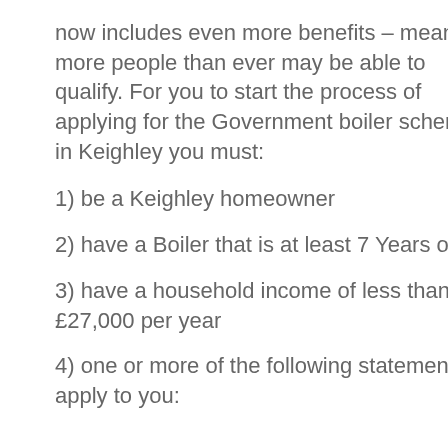now includes even more benefits – meaning more people than ever may be able to qualify. For you to start the process of applying for the Government boiler scheme in Keighley you must:
1) be a Keighley homeowner
2) have a Boiler that is at least 7 Years old
3) have a household income of less than £27,000 per year
4) one or more of the following statements apply to you: